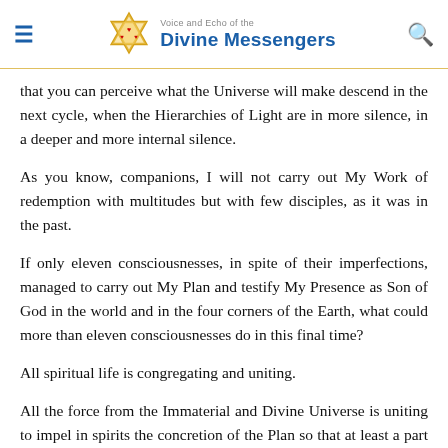Voice and Echo of the Divine Messengers
that you can perceive what the Universe will make descend in the next cycle, when the Hierarchies of Light are in more silence, in a deeper and more internal silence.
As you know, companions, I will not carry out My Work of redemption with multitudes but with few disciples, as it was in the past.
If only eleven consciousnesses, in spite of their imperfections, managed to carry out My Plan and testify My Presence as Son of God in the world and in the four corners of the Earth, what could more than eleven consciousnesses do in this final time?
All spiritual life is congregating and uniting.
All the force from the Immaterial and Divine Universe is uniting to impel in spirits the concretion of the Plan so that at least a part of the Earth may become rescuable and may turn into an Island of